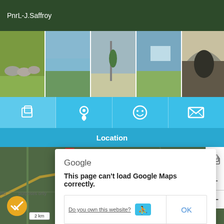[Figure (screenshot): Top banner with dark green background showing text 'PnrL-J.Saffroy' in white]
[Figure (photo): Photo strip with 5 thumbnail photos: horses in field, lake/water scene, person with equipment, person with map/tablet, tunnel/archway]
[Figure (screenshot): Blue tab bar with 4 icons (document/photos, location pin, smiley face, envelope) and 'Location' label below active location tab]
[Figure (map): Google Maps view with error dialog overlay saying 'This page can't load Google Maps correctly.' with 'Do you own this website?' link and OK button. Map shows Dampvitoux area with roads and 'For development purposes only' watermark. Scale bar shows 2 km. Orange checkmark circle bottom left. Zoom controls and layers button on right.]